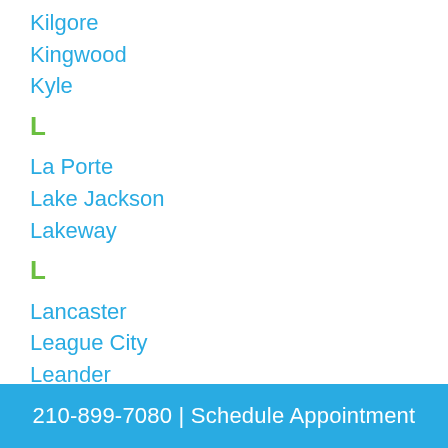Kilgore
Kingwood
Kyle
L
La Porte
Lake Jackson
Lakeway
L
Lancaster
League City
Leander
210-899-7080 | Schedule Appointment